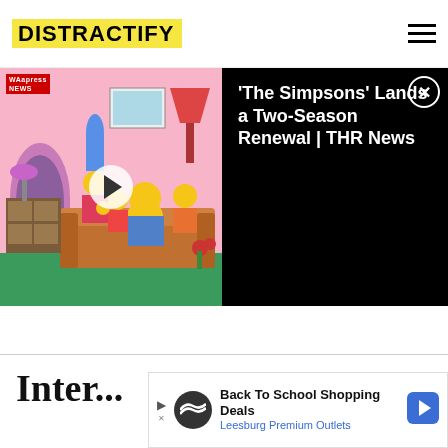DISTRACTIFY
[Figure (screenshot): Video player showing The Simpsons family on a couch (animated), with a play button overlay and 'WAapress NEWS' label in top left. Right side shows video title on black background with close button.]
'The Simpsons' Lands a Two-Season Renewal | THR News
Inter...
Back To School Shopping Deals Leesburg Premium Outlets